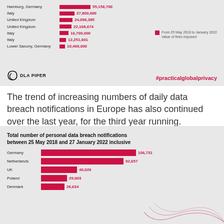[Figure (bar-chart): Top GDPR fines]
The trend of increasing numbers of daily data breach notifications in Europe has also continued over the last year, for the third year running.
[Figure (bar-chart): Total number of personal data breach notifications between 25 May 2018 and 27 January 2022 inclusive]